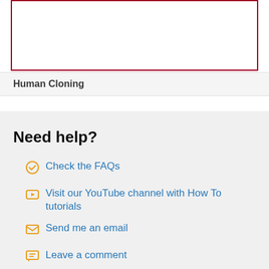[Figure (other): Empty bordered box with red/dark red border, representing a content placeholder or image area]
Human Cloning
Need help?
Check the FAQs
Visit our YouTube channel with How To tutorials
Send me an email
Leave a comment